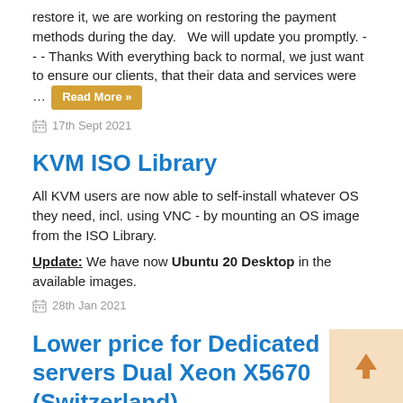restore it, we are working on restoring the payment methods during the day.   We will update you promptly. - - - Thanks With everything back to normal, we just want to ensure our clients, that their data and services were … Read More »
17th Sept 2021
KVM ISO Library
All KVM users are now able to self-install whatever OS they need, incl. using VNC - by mounting an OS image from the ISO Library.
Update: We have now Ubuntu 20 Desktop in the available images.
28th Jan 2021
Lower price for Dedicated servers Dual Xeon X5670 (Switzerland)
We are announcing lower monthly price for one of our offers for Dedicated servers in Switzerland - Dual Xeon X5670.